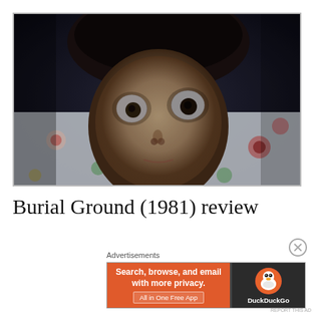[Figure (photo): Close-up film still from Burial Ground (1981): a pale-faced person with wide, staring eyes lying on a floral patterned pillow/bedding, shot in dark, moody lighting.]
Burial Ground (1981) review
Advertisements
[Figure (screenshot): DuckDuckGo advertisement banner: orange left side with text 'Search, browse, and email with more privacy. All in One Free App' and dark right side with DuckDuckGo duck logo and name.]